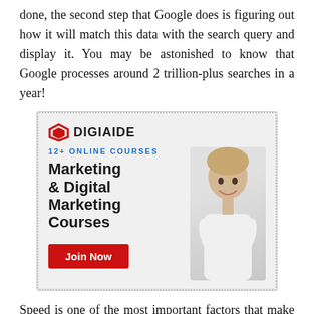done, the second step that Google does is figuring out how it will match this data with the search query and display it. You may be astonished to know that Google processes around 2 trillion-plus searches in a year!
[Figure (illustration): Advertisement banner for DigiAide showing logo, '12+ ONLINE COURSES' text in blue, bold heading 'Marketing & Digital Marketing Courses', a photo of a smiling woman with arms crossed, and a red 'Join Now' button.]
Speed is one of the most important factors that make Google superior to all other search engines. It can understand, retrieve, rearrange, and present the data in